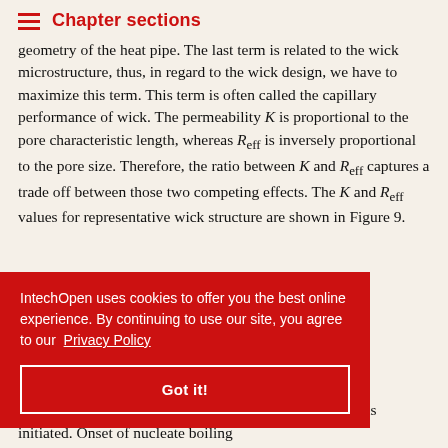Chapter sections
geometry of the heat pipe. The last term is related to the wick microstructure, thus, in regard to the wick design, we have to maximize this term. This term is often called the capillary performance of wick. The permeability K is proportional to the pore characteristic length, whereas R_eff is inversely proportional to the pore size. Therefore, the ratio between K and R_eff captures a trade off between those two competing effects. The K and R_eff values for representative wick structure are shown in Figure 9.
IntechOpen uses cookies to offer you the best online experience. By continuing to use our site, you agree to our Privacy Policy
Got it!
postulated the bubble nucleation is initiated. Onset of nucleate boiling